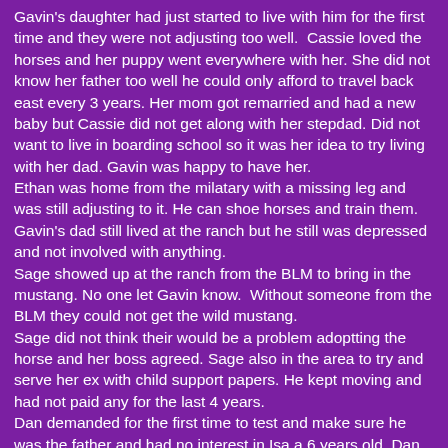Gavin's daughter had just started to live with him for the first time and they were not adjusting too well.  Cassie loved the horses and her puppy went everywhere with her. She did not know her father too well he could only afford to travel back east every 3 years. Her mom got remarried and had a new baby but Cassie did not get along with her stepdad. Did not want to live in boarding school so it was her idea to try living with her dad. Gavin was happy to have her.
Ethan was home from the milatary with a missing leg and was still adjusting to it. He can shoe horses and train them. Gavin's dad still lived at the ranch but he still was depressed and not involved with anything.
Sage showed up at the ranch from the BLM to bring in the mustang. No one let Gavin know.  Without someone from the BLM they could not get the wild mustang.
Sage did not think their would be a problem adoptting the horse and her boss agreed. Sage also in the area to try and serve her ex with child support papers. He kept moving and had not paid any for the last 4 years.
Dan demanded for the first time to test and make sure he was the father and had no interest in Isa a 6 years old. Dan was also Gavin's new partner. Dan did not want Sage on the ranch, want to stop the Wild Mustang. There was a point to the Wild Mustang.